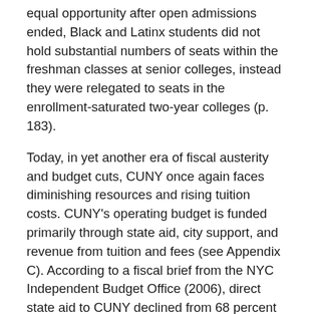equal opportunity after open admissions ended, Black and Latinx students did not hold substantial numbers of seats within the freshman classes at senior colleges, instead they were relegated to seats in the enrollment-saturated two-year colleges (p. 183).
Today, in yet another era of fiscal austerity and budget cuts, CUNY once again faces diminishing resources and rising tuition costs. CUNY's operating budget is funded primarily through state aid, city support, and revenue from tuition and fees (see Appendix C). According to a fiscal brief from the NYC Independent Budget Office (2006), direct state aid to CUNY declined from 68 percent of CUNY's operating revenue in 1989 to 48 percent in 2006. During that same time period, the city's contribution to CUNY's budget fell by 24 percent. While tuition and fees only accounted for 20 percent of CUNY revenues in 1989, they comprised of